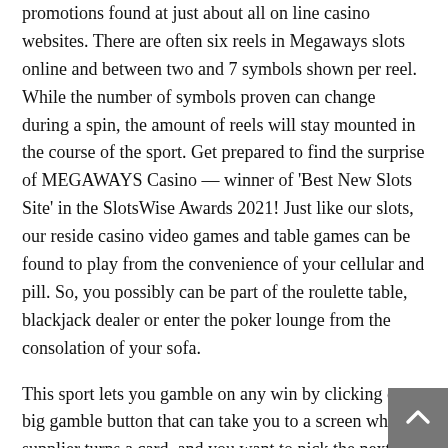promotions found at just about all on line casino websites. There are often six reels in Megaways slots online and between two and 7 symbols shown per reel. While the number of symbols proven can change during a spin, the amount of reels will stay mounted in the course of the sport. Get prepared to find the surprise of MEGAWAYS Casino — winner of 'Best New Slots Site' in the SlotsWise Awards 2021! Just like our slots, our reside casino video games and table games can be found to play from the convenience of your cellular and pill. So, you possibly can be part of the roulette table, blackjack dealer or enter the poker lounge from the consolation of your sofa.
This sport lets you gamble on any win by clicking on a big gamble button that can take you to a screen where a supplier turns a card, and you want to pick the next card to win. But one of many core components of any slot machine, paytables mark the all of the attainable successful symbol combos. The